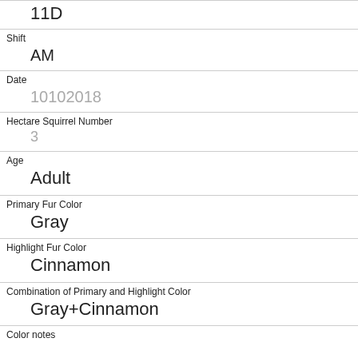11D
Shift
AM
Date
10102018
Hectare Squirrel Number
3
Age
Adult
Primary Fur Color
Gray
Highlight Fur Color
Cinnamon
Combination of Primary and Highlight Color
Gray+Cinnamon
Color notes
Location
Above Ground
Above Ground Sighter Measurement
30